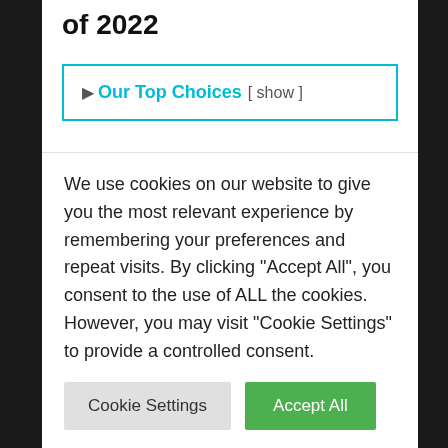of 2022
Our Top Choices [ show ]
As we all know, Swiss watches are among the top quality watches that are recognized around the
We use cookies on our website to give you the most relevant experience by remembering your preferences and repeat visits. By clicking “Accept All”, you consent to the use of ALL the cookies. However, you may visit "Cookie Settings" to provide a controlled consent.